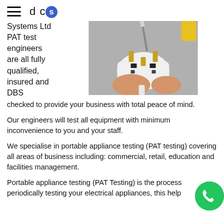dcs
Systems Ltd PAT test engineers are all fully qualified, insured and DBS checked to provide your business with total peace of mind.
[Figure (photo): Close-up photo of a hand holding a white electrical plug while a screwdriver is inserted into the top pin, with another hand visible in the background holding a yellow-handled screwdriver.]
Our engineers will test all equipment with minimum inconvenience to you and your staff.
We specialise in portable appliance testing (PAT testing) covering all areas of business including: commercial, retail, education and facilities management.
Portable appliance testing (PAT Testing) is the process periodically testing your electrical appliances, this help...